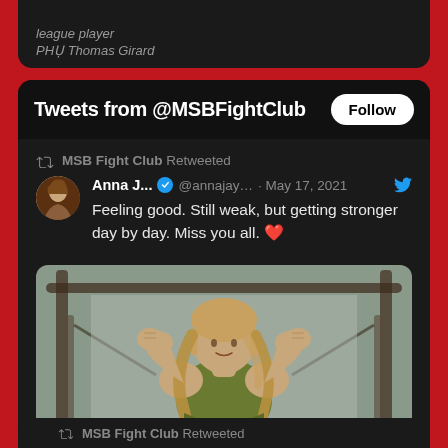league player
PHỤ Thomas Girard
Tweets from @MSBFightClub
Follow
MSB Fight Club Retweeted
Anna J... @annajay… · May 17, 2021
Feeling good. Still weak, but getting stronger day by day. Miss you all. ❤️
[Figure (photo): Woman in green tank top flexing her arms in a gym setting]
229
10.5K
MSB Fight Club Retweeted